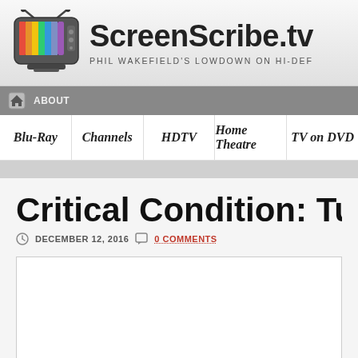ScreenScribe.tv — PHIL WAKEFIELD'S LOWDOWN ON HI-DEF
[Figure (illustration): Retro TV icon with rainbow colored screen and antenna]
ABOUT
Blu-Ray | Channels | HDTV | Home Theatre | TV on DVD
Critical Condition: Tutankh
DECEMBER 12, 2016   0 COMMENTS